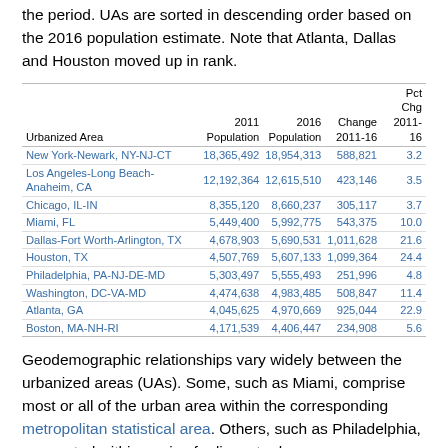the period. UAs are sorted in descending order based on the 2016 population estimate. Note that Atlanta, Dallas and Houston moved up in rank.
| Urbanized Area | 2011 Population | 2016 Population | Change 2011-16 | Pct Chg 2011-16 |
| --- | --- | --- | --- | --- |
| New York-Newark, NY-NJ-CT | 18,365,492 | 18,954,313 | 588,821 | 3.2 |
| Los Angeles-Long Beach-Anaheim, CA | 12,192,364 | 12,615,510 | 423,146 | 3.5 |
| Chicago, IL-IN | 8,355,120 | 8,660,237 | 305,117 | 3.7 |
| Miami, FL | 5,449,400 | 5,992,775 | 543,375 | 10.0 |
| Dallas-Fort Worth-Arlington, TX | 4,678,903 | 5,690,531 | 1,011,628 | 21.6 |
| Houston, TX | 4,507,769 | 5,607,133 | 1,099,364 | 24.4 |
| Philadelphia, PA-NJ-DE-MD | 5,303,497 | 5,555,493 | 251,996 | 4.8 |
| Washington, DC-VA-MD | 4,474,638 | 4,983,485 | 508,847 | 11.4 |
| Atlanta, GA | 4,045,625 | 4,970,669 | 925,044 | 22.9 |
| Boston, MA-NH-RI | 4,171,539 | 4,406,447 | 234,908 | 5.6 |
Geodemographic relationships vary widely between the urbanized areas (UAs). Some, such as Miami, comprise most or all of the urban area within the corresponding metropolitan statistical area. Others, such as Philadelphia, are nested within a mix of adjacent urban areas interspersed with rural areas. Among other things, these different geodemographic structures reflect how